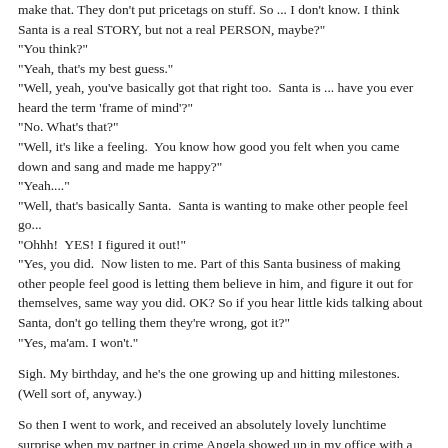make that. They don't put pricetags on stuff. So ... I don't know. I think Santa is a real STORY, but not a real PERSON, maybe?"
"You think?"
"Yeah, that's my best guess."
"Well, yeah, you've basically got that right too.  Santa is ... have you ever heard the term 'frame of mind'?"
"No. What's that?"
"Well, it's like a feeling.  You know how good you felt when you came down and sang and made me happy?"
"Yeah...."
"Well, that's basically Santa.  Santa is wanting to make other people feel go..."
"Ohhh!  YES! I figured it out!"
"Yes, you did.  Now listen to me. Part of this Santa business of making other people feel good is letting them believe in him, and figure it out for themselves, same way you did. OK? So if you hear little kids talking about Santa, don't go telling them they're wrong, got it?"
"Yes, ma'am. I won't."
Sigh. My birthday, and he's the one growing up and hitting milestones. (Well sort of, anyway.)
So then I went to work, and received an absolutely lovely lunchtime surprise when my partner in crime Angela showed up in my office with a giant bag full of Ben and Jerry's ice cream (Three flavors. And by the way? Late Night Snac...